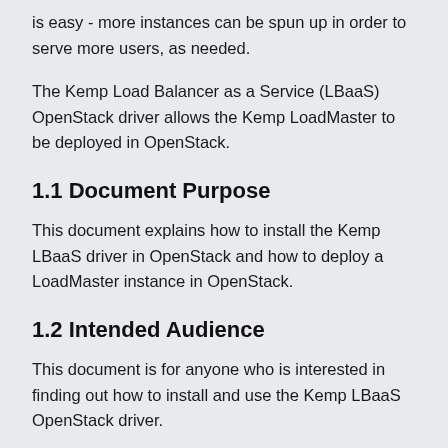is easy - more instances can be spun up in order to serve more users, as needed.
The Kemp Load Balancer as a Service (LBaaS) OpenStack driver allows the Kemp LoadMaster to be deployed in OpenStack.
1.1 Document Purpose
This document explains how to install the Kemp LBaaS driver in OpenStack and how to deploy a LoadMaster instance in OpenStack.
1.2 Intended Audience
This document is for anyone who is interested in finding out how to install and use the Kemp LBaaS OpenStack driver.